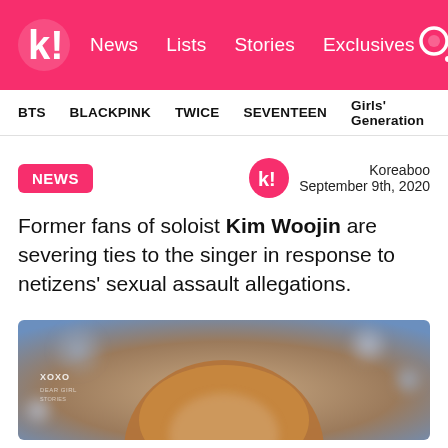k! News Lists Stories Exclusives
BTS BLACKPINK TWICE SEVENTEEN Girls' Generation
NEWS
Koreaboo September 9th, 2020
Former fans of soloist Kim Woojin are severing ties to the singer in response to netizens' sexual assault allegations.
[Figure (photo): Photo of Kim Woojin with auburn/brown hair, blurred background with bokeh lights, XOXO watermark visible]